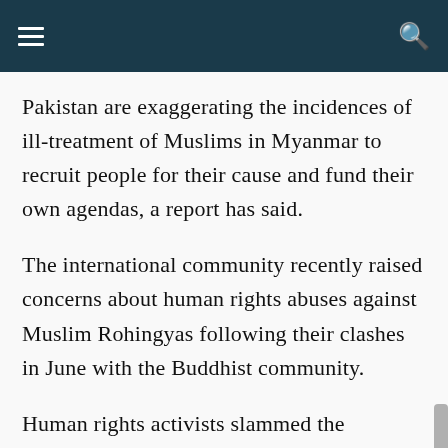Navigation bar with menu and search icons
Pakistan are exaggerating the incidences of ill-treatment of Muslims in Myanmar to recruit people for their cause and fund their own agendas, a report has said.
The international community recently raised concerns about human rights abuses against Muslim Rohingyas following their clashes in June with the Buddhist community.
Human rights activists slammed the Burmese government for failing to protect Rohingyas